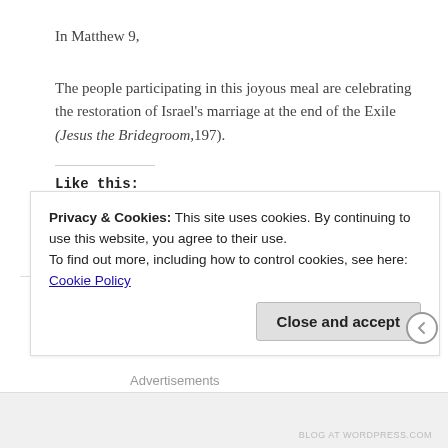In Matthew 9,
The people participating in this joyous meal are celebrating the restoration of Israel's marriage at the end of the Exile (Jesus the Bridegroom,197).
Like this:
Loading...
Google, Matthew
Privacy & Cookies: This site uses cookies. By continuing to use this website, you agree to their use.
To find out more, including how to control cookies, see here: Cookie Policy
Close and accept
Advertisements